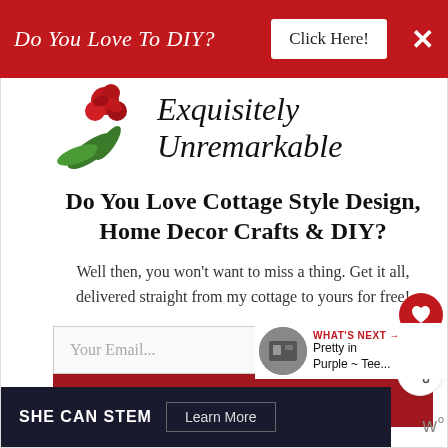[Figure (other): Red banner advertisement: 'Do You Love To DIY?' with 'Click Here!' button and X close button]
[Figure (illustration): Floral logo image with red flower and green leaves next to the text 'Exquisitely Unremarkable']
Exquisitely Unremarkable
Do You Love Cottage Style Design, Home Decor Crafts & DIY?
Well then, you won't want to miss a thing. Get it all, delivered straight from my cottage to yours for free!
Your Email...
SUBSCRIBE
[Figure (other): Bottom advertisement bar: SHE CAN STEM with Learn More button]
[Figure (other): What's Next widget: Pretty in Purple ~ Tee... with thumbnail image]